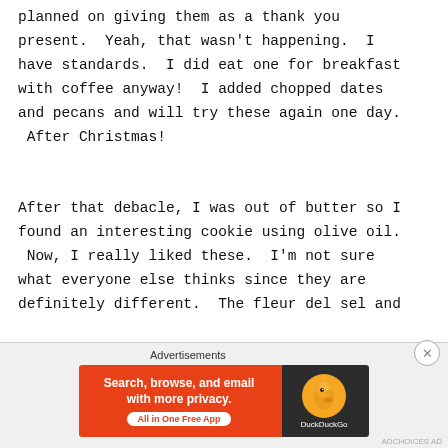planned on giving them as a thank you present.  Yeah, that wasn't happening.  I have standards.  I did eat one for breakfast with coffee anyway!  I added chopped dates and pecans and will try these again one day.  After Christmas!

After that debacle, I was out of butter so I found an interesting cookie using olive oil.  Now, I really liked these.  I'm not sure what everyone else thinks since they are definitely different.  The fleur del sel and
[Figure (infographic): DuckDuckGo advertisement banner: 'Search, browse, and email with more privacy. All in One Free App' with DuckDuckGo duck logo on dark right side. Labeled 'Advertisements' above.]